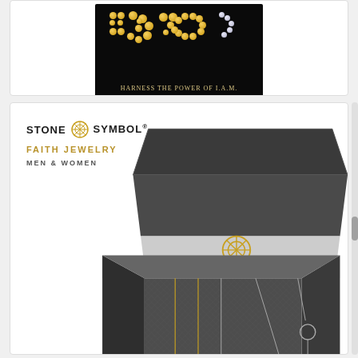[Figure (photo): Dark/black background image showing gold and pearl beads arranged in a pattern spelling or decorating text, with the caption 'HARNESS THE POWER OF I.A.M.' in gold letters at the bottom of the image.]
[Figure (photo): Stone Symbol brand advertisement showing a dark gray gift box open with multiple necklaces displayed inside. The box lid shows a golden wheel/compass logo. On the left side of the image are the brand name 'STONE SYMBOL' with a wheel logo, 'FAITH JEWELRY' in gold, and 'MEN & WOMEN' in gray. The necklaces feature circular wheel/compass pendants in gold and silver tones with gemstones.]